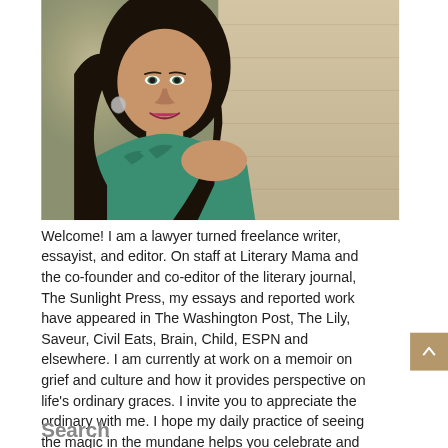[Figure (photo): Portrait photo of a South Asian woman with dark hair, wearing a teal/green ruffled sleeveless top, smiling, leaning against a stone or concrete wall. Professional headshot style.]
Welcome! I am a lawyer turned freelance writer, essayist, and editor. On staff at Literary Mama and the co-founder and co-editor of the literary journal, The Sunlight Press, my essays and reported work have appeared in The Washington Post, The Lily, Saveur, Civil Eats, Brain, Child, ESPN and elsewhere. I am currently at work on a memoir on grief and culture and how it provides perspective on life's ordinary graces. I invite you to appreciate the ordinary with me. I hope my daily practice of seeing the magic in the mundane helps you celebrate and find more of these moments in your life too. READ MORE
Search